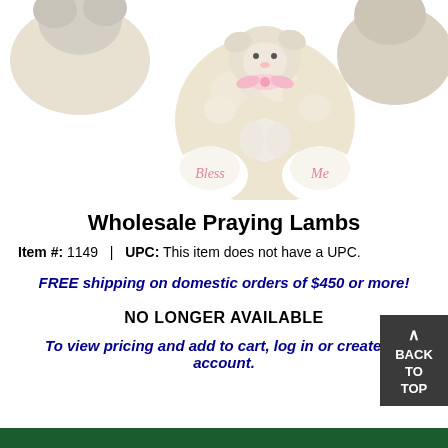[Figure (photo): Plush praying lamb stuffed animal with pink bow, white paws labeled 'Bless' and 'Me', cream colored fur, praying pose. Multiple lambs visible in background.]
Wholesale Praying Lambs
Item #: 1149  |  UPC: This item does not have a UPC.
FREE shipping on domestic orders of $450 or more!
NO LONGER AVAILABLE
To view pricing and add to cart, log in or create an account.